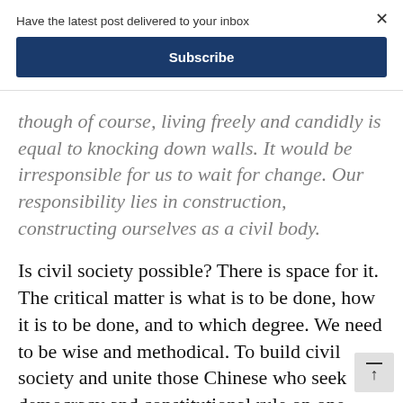Have the latest post delivered to your inbox
Subscribe
though of course, living freely and candidly is equal to knocking down walls. It would be irresponsible for us to wait for change. Our responsibility lies in construction, constructing ourselves as a civil body.
Is civil society possible? There is space for it. The critical matter is what is to be done, how it is to be done, and to which degree. We need to be wise and methodical. To build civil society and unite those Chinese who seek democracy and constitutional rule on one platform, I offer key phrases.